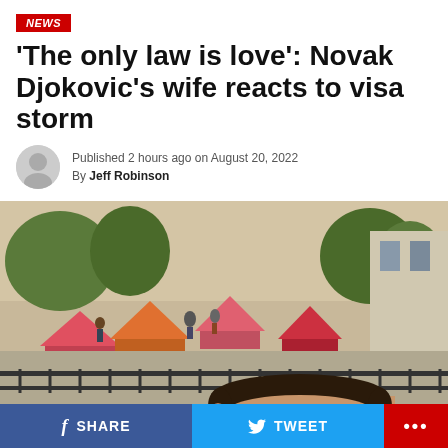NEWS
'The only law is love': Novak Djokovic's wife reacts to visa storm
Published 2 hours ago on August 20, 2022
By Jeff Robinson
[Figure (photo): Outdoor scene with colorful tents and market stalls in background, man with dark hair in foreground]
SHARE  TWEET  ...